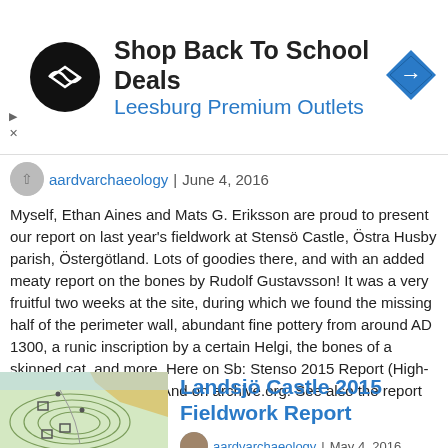[Figure (infographic): Advertisement banner: circular black logo with diamond/infinity icon, text 'Shop Back To School Deals' and 'Leesburg Premium Outlets' in blue, blue diamond directional sign icon on right]
aardvarchaeology | June 4, 2016
Myself, Ethan Aines and Mats G. Eriksson are proud to present our report on last year's fieldwork at Stensö Castle, Östra Husby parish, Östergötland. Lots of goodies there, and with an added meaty report on the bones by Rudolf Gustavsson! It was a very fruitful two weeks at the site, during which we found the missing half of the perimeter wall, abundant fine pottery from around AD 1300, a runic inscription by a certain Helgi, the bones of a skinned cat, and more. Here on Sb: Stenso 2015 Report (High-res, single-sided print) And on archive.org. See also the report for 2014, the first...
[Figure (map): Topographic map thumbnail showing contour lines of Landsjö Castle area with green and tan terrain]
Landsjö Castle 2015 Fieldwork Report
aardvarchaeology | May 4, 2016